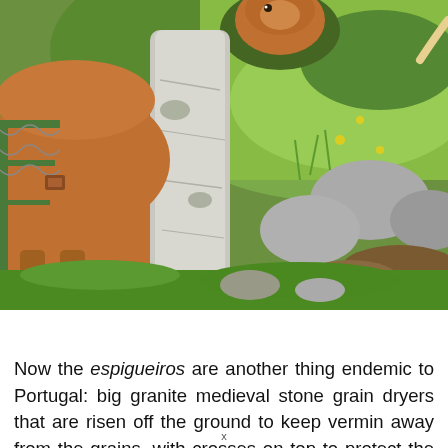[Figure (photo): A brown/reddish cow standing behind a large granite stone/rock beside a metal gate, with green grass, rocks and vegetation in the background. Geres National Park, Portugal.]
Local cows – Geres National Park
Now the espigueiros are another thing endemic to Portugal: big granite medieval stone grain dryers that are risen off the ground to keep vermin away from the grains, with crosses on top to protect the harvest from bad omens.  To me, with my overactive imagination, they